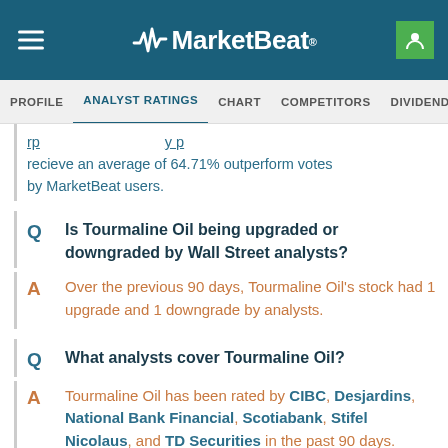MarketBeat
PROFILE | ANALYST RATINGS | CHART | COMPETITORS | DIVIDEND | HEADLINES
recieve an average of 64.71% outperform votes by MarketBeat users.
Q: Is Tourmaline Oil being upgraded or downgraded by Wall Street analysts?
A: Over the previous 90 days, Tourmaline Oil's stock had 1 upgrade and 1 downgrade by analysts.
Q: What analysts cover Tourmaline Oil?
A: Tourmaline Oil has been rated by CIBC, Desjardins, National Bank Financial, Scotiabank, Stifel Nicolaus, and TD Securities in the past 90 days.